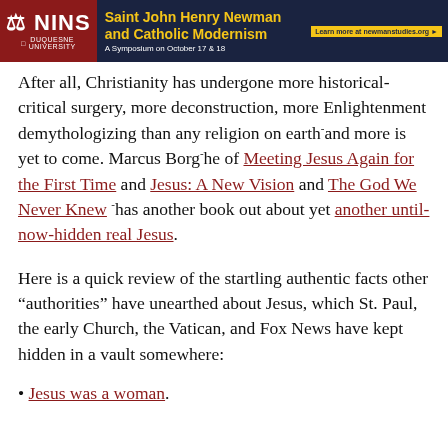[Figure (other): Banner advertisement for NINS / Duquesne University: Saint John Henry Newman and Catholic Modernism — A Symposium on October 17 & 18. Learn more at newmanstudies.org]
After all, Christianity has undergone more historical-critical surgery, more deconstruction, more Enlightenment demythologizing than any religion on earth—and more is yet to come. Marcus Borg—he of Meeting Jesus Again for the First Time and Jesus: A New Vision and The God We Never Knew—has another book out about yet another until-now-hidden real Jesus.
Here is a quick review of the startling authentic facts other “autionaries” have unearthed about Jesus, which St. Paul, the early Church, the Vatican, and Fox News have kept hidden in a vault somewhere:
Jesus was a woman.